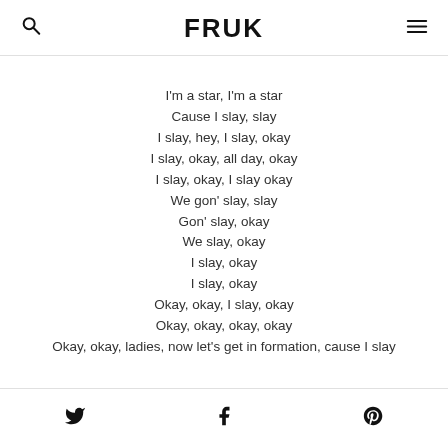FRUK
I'm a star, I'm a star
Cause I slay, slay
I slay, hey, I slay, okay
I slay, okay, all day, okay
I slay, okay, I slay okay
We gon' slay, slay
Gon' slay, okay
We slay, okay
I slay, okay
I slay, okay
Okay, okay, I slay, okay
Okay, okay, okay, okay
Okay, okay, ladies, now let's get in formation, cause I slay
Twitter Facebook Pinterest